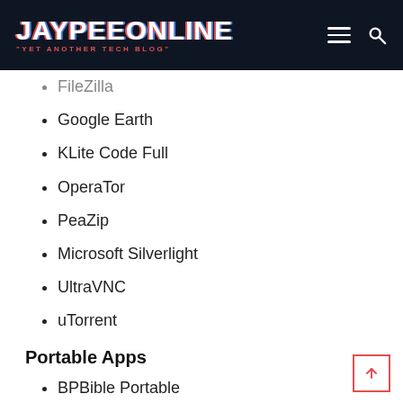JAYPEEONLINE "YET ANOTHER TECH BLOG"
FileZilla
Google Earth
KLite Code Full
OperaTor
PeaZip
Microsoft Silverlight
UltraVNC
uTorrent
Portable Apps
BPBible Portable
ClamWin Portable